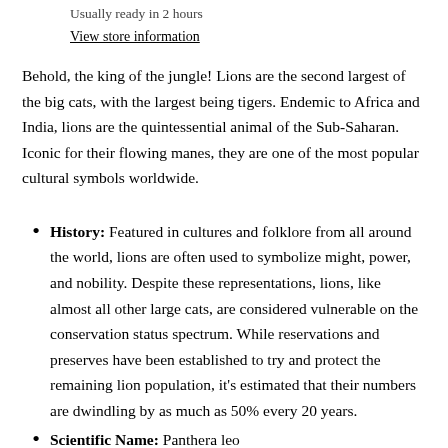Usually ready in 2 hours
View store information
Behold, the king of the jungle! Lions are the second largest of the big cats, with the largest being tigers. Endemic to Africa and India, lions are the quintessential animal of the Sub-Saharan. Iconic for their flowing manes, they are one of the most popular cultural symbols worldwide.
History: Featured in cultures and folklore from all around the world, lions are often used to symbolize might, power, and nobility. Despite these representations, lions, like almost all other large cats, are considered vulnerable on the conservation status spectrum. While reservations and preserves have been established to try and protect the remaining lion population, it's estimated that their numbers are dwindling by as much as 50% every 20 years.
Scientific Name: Panthera leo
Characteristics: Complete with its illustrious dark brown mane representative of a male lion, this lion toy figurine depicts the royal